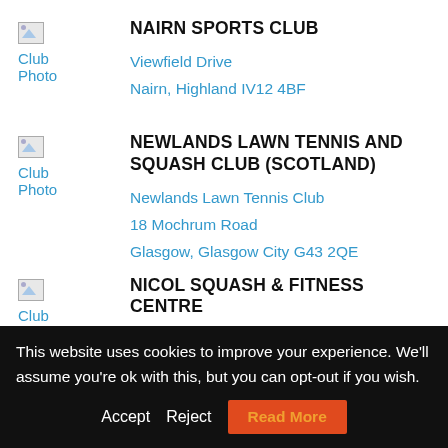[Figure (photo): Broken club photo placeholder for Nairn Sports Club]
NAIRN SPORTS CLUB
Viewfield Drive
Nairn, Highland IV12 4BF
[Figure (photo): Broken club photo placeholder for Newlands Lawn Tennis and Squash Club]
NEWLANDS LAWN TENNIS AND SQUASH CLUB (SCOTLAND)
Newlands Lawn Tennis Club
18 Mochrum Road
Glasgow, Glasgow City G43 2QE
[Figure (photo): Broken club photo placeholder for Nicol Squash & Fitness Centre]
NICOL SQUASH & FITNESS CENTRE
Broadstraiik
This website uses cookies to improve your experience. We'll assume you're ok with this, but you can opt-out if you wish.